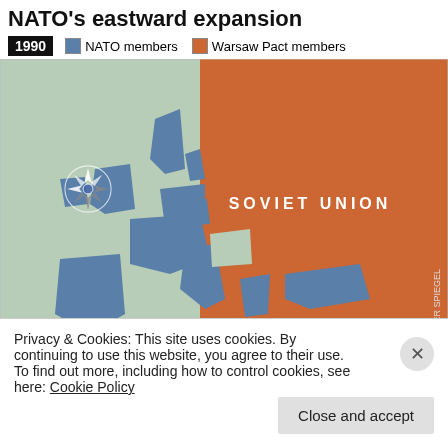NATO's eastward expansion
[Figure (map): Map of Europe in 1990 showing NATO members (blue) and Warsaw Pact members (orange/red), with Soviet Union labeled. NATO compass rose logo visible on western portion. DER SPIEGEL credit on right side.]
2009  NATO members  Aspiring NATO members  Russia
Privacy & Cookies: This site uses cookies. By continuing to use this website, you agree to their use.
To find out more, including how to control cookies, see here: Cookie Policy
Close and accept